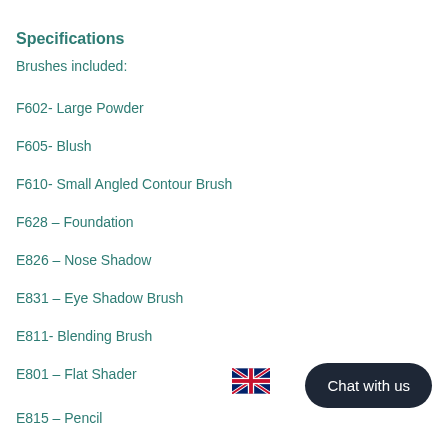Specifications
Brushes included:
F602- Large Powder
F605- Blush
F610- Small Angled Contour Brush
F628 – Foundation
E826 – Nose Shadow
E831 – Eye Shadow Brush
E811- Blending Brush
E801 – Flat Shader
E815 – Pencil